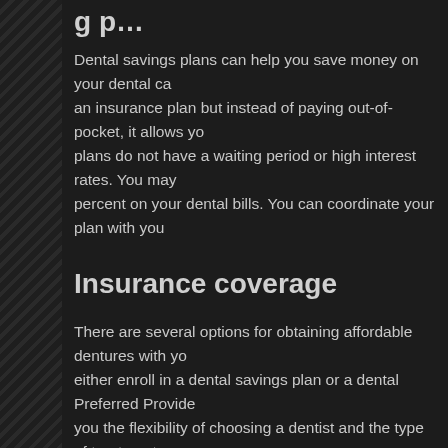…g p…
Dental savings plans can help you save money on your dental ca… an insurance plan but instead of paying out-of-pocket, it allows yo… plans do not have a waiting period or high interest rates. You may… percent on your dental bills. You can coordinate your plan with you…
Insurance coverage
There are several options for obtaining affordable dentures with yo… either enroll in a dental savings plan or a dental Preferred Provide… you the flexibility of choosing a dentist and the type of treatment y… pay a certain amount up front to use these services.
Cost
The cost of affordable dentures is an important consideration for a… missing teeth. Missing teeth can have a significant impact on a pe… chew and speak. Additionally, missing teeth can result in bone shr… can lead to problems with the alignment of the remaining teeth an… avoided with dentures, which are an excellent investment in oral h…